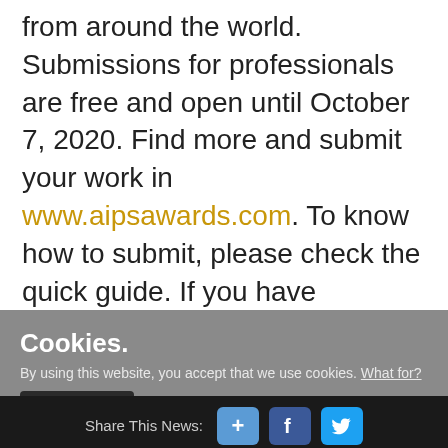from around the world. Submissions for professionals are free and open until October 7, 2020. Find more and submit your work in www.aipsawards.com. To know how to submit, please check the quick guide. If you have questions, you can check our Frequently Asked Questions section or contact us at info@aipsawards.com
Cookies.
By using this website, you accept that we use cookies. What for?
Understood
Share This News: